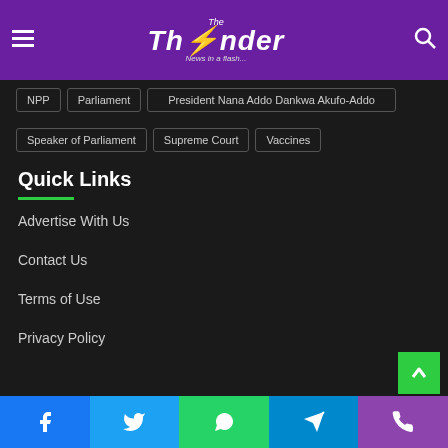The Thunder - News in a flash...
NPP
Parliament
President Nana Addo Dankwa Akufo-Addo
Speaker of Parliament
Supreme Court
Vaccines
Quick Links
Advertise With Us
Contact Us
Terms of Use
Privacy Policy
Facebook | Twitter | WhatsApp | Telegram | Phone